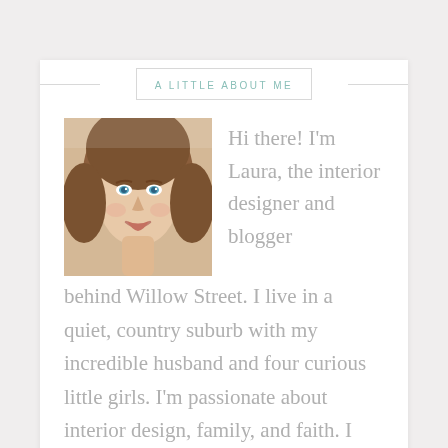A LITTLE ABOUT ME
[Figure (photo): Portrait photo of Laura, a smiling woman with brown hair and blue eyes]
Hi there! I'm Laura, the interior designer and blogger behind Willow Street. I live in a quiet, country suburb with my incredible husband and four curious little girls. I'm passionate about interior design, family, and faith. I believe that we should all love where we live, no matter how grand or humble our means. I'd love for you to follow along as I share ideas and inspiration on